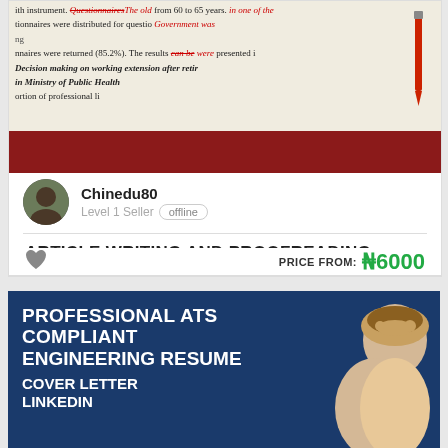[Figure (screenshot): Screenshot of a freelance marketplace listing page showing two service cards. First card shows a proofreading service by Chinedu80, Level 1 Seller, priced from ₦6000. Second card shows a Professional ATS Compliant Engineering Resume service.]
Chinedu80
Level 1 Seller  offline
ARTICLE WRITING AND PROOFREADING
PRICE FROM: ₦6000
PROFESSIONAL ATS COMPLIANT ENGINEERING RESUME COVER LETTER LINKEDIN